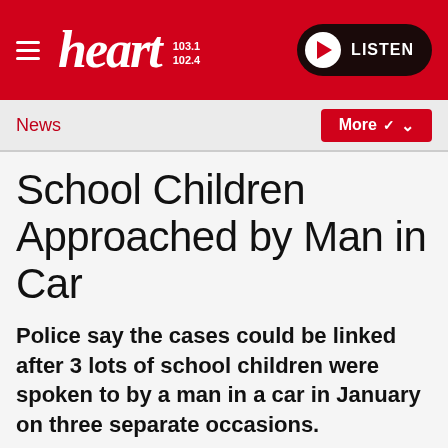heart 103.1 102.4 LISTEN
News
School Children Approached by Man in Car
Police say the cases could be linked after 3 lots of school children were spoken to by a man in a car in January on three separate occasions.
The first reported incident took place on 13 January in